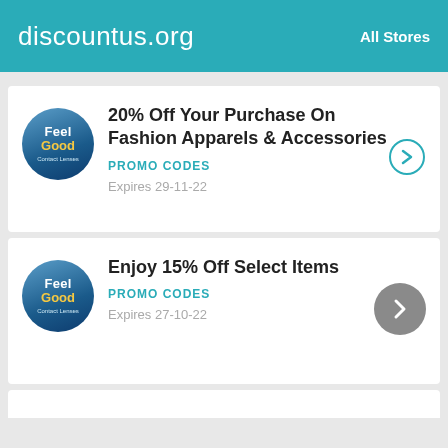discountus.org   All Stores
20% Off Your Purchase On Fashion Apparels & Accessories
PROMO CODES
Expires 29-11-22
Enjoy 15% Off Select Items
PROMO CODES
Expires 27-10-22